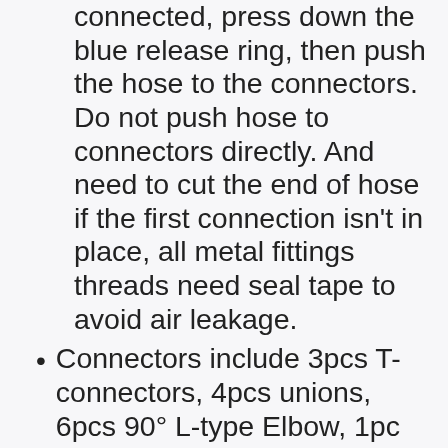connected, press down the blue release ring, then push the hose to the connectors. Do not push hose to connectors directly. And need to cut the end of hose if the first connection isn't in place, all metal fittings threads need seal tape to avoid air leakage.
Connectors include 3pcs T-connectors, 4pcs unions, 6pcs 90° L-type Elbow, 1pc shut-off valve, 3pcs wall outlets, 1pc check valve, 3pcs 1/4 Inch NPT male connectors, 3pcs 1/4 Inch NPT female connectors,3pcs 1/4 Inch NPT female coupler, 1/4 Inch NPT female plug, 3pcs 3/8 Inch